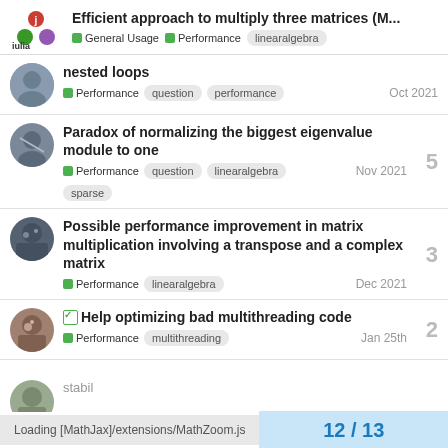Efficient approach to multiply three matrices (M... | General Usage | Performance | linearalgebra
nested loops | Performance | question | performance | Oct 2021
Paradox of normalizing the biggest eigenvalue module to one | Performance | question | linearalgebra | sparse | Nov 2021 | 5
Possible performance improvement in matrix multiplication involving a transpose and a complex matrix | Performance | linearalgebra | Dec 2021 | 3
Help optimizing bad multithreading code | Performance | multithreading | Jan 25th | 2
Loading [MathJax]/extensions/MathZoom.js
12 / 13
stabil